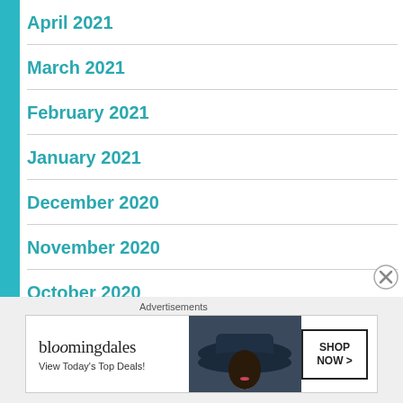April 2021
March 2021
February 2021
January 2021
December 2020
November 2020
October 2020
September 2020
[Figure (infographic): Bloomingdale's advertisement banner with logo, tagline 'View Today's Top Deals!', woman wearing wide-brim hat, and 'SHOP NOW >' button]
Advertisements